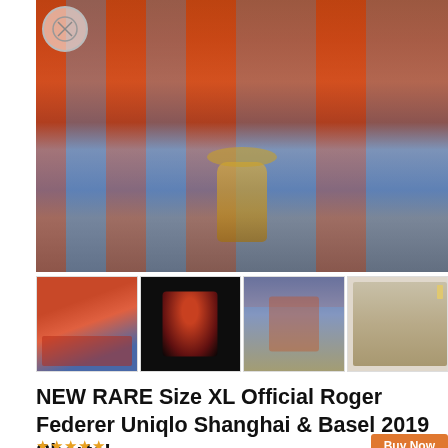[Figure (photo): Main large photo showing Roger Federer with children in red and blue uniforms, holding a trophy, appearing to share pizza. A watermark/logo circle is visible in the top-left corner.]
[Figure (photo): Thumbnail 1: Group of children in red uniforms seated/standing together.]
[Figure (photo): Thumbnail 2: Roger Federer in red outfit playing tennis on a dark court, stretching for a shot.]
[Figure (photo): Thumbnail 3: Roger Federer on a blue/purple tennis court reaching low for a shot, Emirates branding visible on the net.]
[Figure (photo): Thumbnail 4: Khaki/beige shorts (product photo) laid flat showing the garment with tags.]
NEW RARE Size XL Official Roger Federer Uniqlo Shanghai & Basel 2019 Shorts!